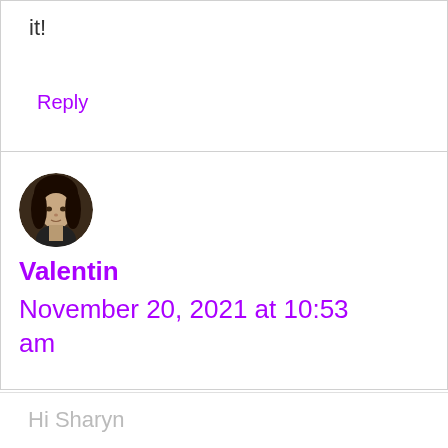it!
Reply
[Figure (photo): Circular avatar photo of a young man with long hair, dark background]
Valentin
November 20, 2021 at 10:53 am
Hi Sharyn